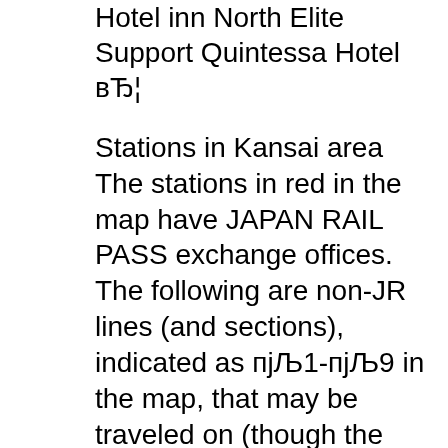Hotel inn North Elite Support Quintessa Hotel вЂ¦
Stations in Kansai area The stations in red in the map have JAPAN RAIL PASS exchange offices. The following are non-JR lines (and sections), indicated as пјЉ1-пјЉ9 in the map, that may be traveled on (though the JAPAN RAIL PASS is not valid for them) by JR-line express Tokyo TOKYO TRAIN & SUBWAY MAP JR Yamanote Hibiya line Ginza line Chiyoda line Tozai line Marunouchi line Hanzomon line Namboku line Yurakucho line Mita Line line Oedo line Shinjuku line Fukutoshin line Nihonbashi Hachi bori Kaya bacho Kaya bacho Ogawa machi Haneda Airport Travel Times Hibya, Subway line (Silver)